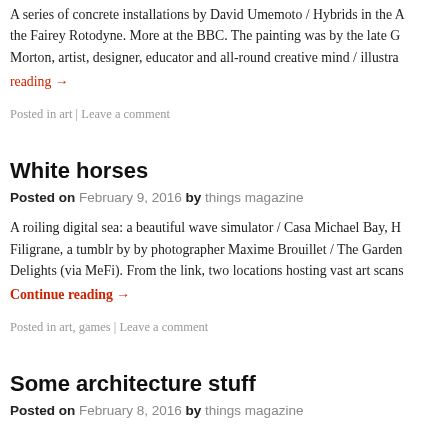A series of concrete installations by David Umemoto / Hybrids in the A the Fairey Rotodyne. More at the BBC. The painting was by the late G Morton, artist, designer, educator and all-round creative mind / illustra
reading →
Posted in art | Leave a comment
White horses
Posted on February 9, 2016 by things magazine
A roiling digital sea: a beautiful wave simulator / Casa Michael Bay, H Filigrane, a tumblr by by photographer Maxime Brouillet / The Garden Delights (via MeFi). From the link, two locations hosting vast art scans
Continue reading →
Posted in art, games | Leave a comment
Some architecture stuff
Posted on February 8, 2016 by things magazine